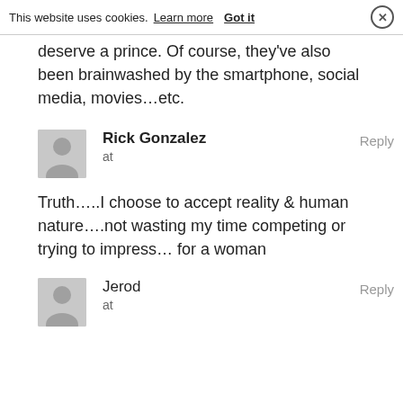This website uses cookies. Learn more  Got it  ×
deserve a prince. Of course, they've also been brainwashed by the smartphone, social media, movies…etc.
Rick Gonzalez
at
Truth…..I choose to accept reality & human nature….not wasting my time competing or trying to impress… for a woman
Jerod
at